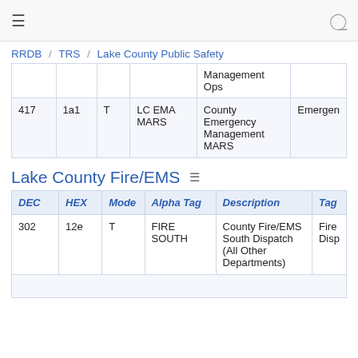≡  (user icon)
RRDB / TRS / Lake County Public Safety
| DEC | HEX | Mode | Alpha Tag | Description | Tag |
| --- | --- | --- | --- | --- | --- |
|  |  |  |  | Management Ops |  |
| 417 | 1a1 | T | LC EMA MARS | County Emergency Management MARS | Emergen |
Lake County Fire/EMS
| DEC | HEX | Mode | Alpha Tag | Description | Tag |
| --- | --- | --- | --- | --- | --- |
| 302 | 12e | T | FIRE SOUTH | County Fire/EMS South Dispatch (All Other Departments) | Fire Disp |